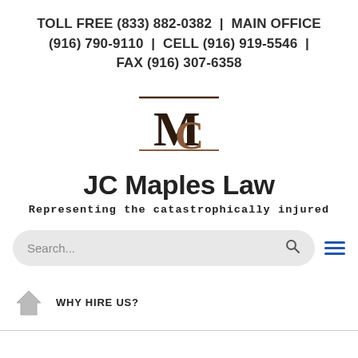TOLL FREE (833) 882-0382  |  MAIN OFFICE (916) 790-9110  |  CELL (916) 919-5546  |  FAX (916) 307-6358
[Figure (logo): JC Maples Law monogram logo with interlocking M and C letters in dark brown/copper, with horizontal lines above and below the monogram]
JC Maples Law
Representing the catastrophically injured
Search...
WHY HIRE US?